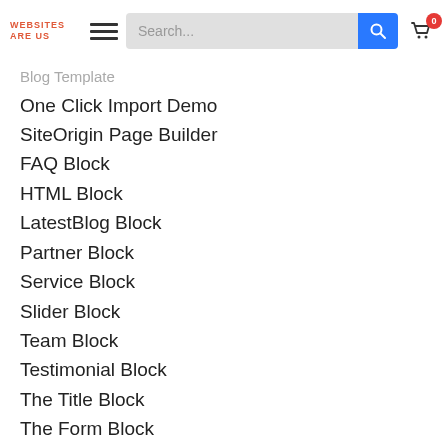WEBSITES ARE US  [hamburger]  Search...  [cart 0]
Blog Template (partial, cut off)
One Click Import Demo
SiteOrigin Page Builder
FAQ Block
HTML Block
LatestBlog Block
Partner Block
Service Block
Slider Block
Team Block
Testimonial Block
The Title Block
The Form Block
Changelogs
Changelog 2.0 17 May 2019
– UPDATE : ACF Pro Plugin